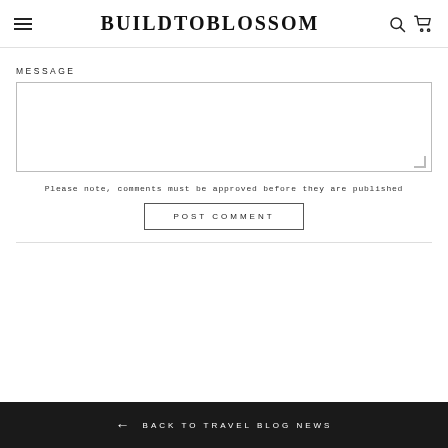BUILDTOBLOSSOM
MESSAGE
Please note, comments must be approved before they are published
POST COMMENT
← BACK TO TRAVEL BLOG NEWS